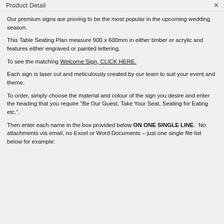Product Detail
Our premium signs are proving to be the most popular in the upcoming wedding season.
This Table Seating Plan measure 900 x 600mm in either timber or acrylic and features either engraved or painted lettering.
To see the matching Welcome Sign, CLICK HERE.
Each sign is laser cut and meticulously created by our team to suit your event and theme.
To order, simply choose the material and colour of the sign you desire and enter the heading that you require "Be Our Guest, Take Your Seat, Seating for Eating etc.".
Then enter each name in the box provided below ON ONE SINGLE LINE.  No attachments via email, no Excel or Word Documents – just one single file list below for example: